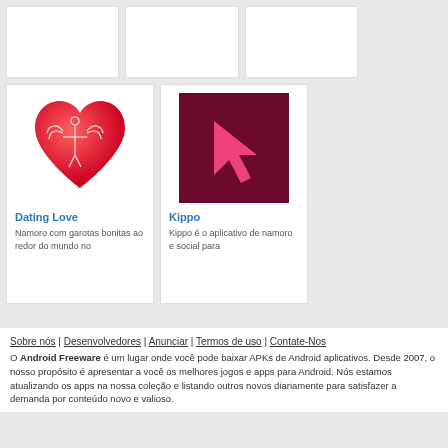[Figure (illustration): App icon for Dating Love: red heart with angel figure silhouette in white]
Dating Love
Namoro com garotas bonitas ao redor do mundo no
[Figure (illustration): App icon for Kippo: dark maroon/burgundy square background with pink arrow/cursor shape]
Kippo
Kippo é o aplicativo de namoro e social para
Sobre nós | Desenvolvedores | Anunciar | Termos de uso | Contate-Nos
O Android Freeware é um lugar onde você pode baixar APKs de Android aplicativos. Desde 2007, o nosso propósito é apresentar a você os melhores jogos e apps para Android. Nós estamos atualizando os apps na nossa coleção e listando outros novos diariamente para satisfazer a demanda por conteúdo novo e valioso.